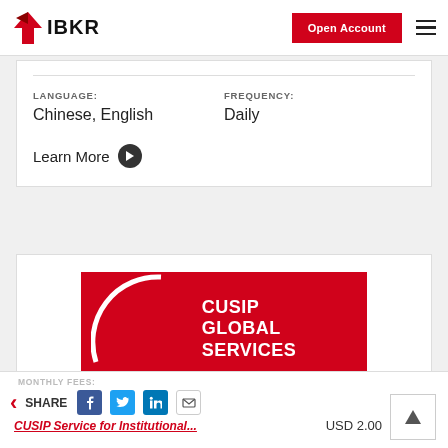IBKR — Open Account
LANGUAGE: Chinese, English
FREQUENCY: Daily
Learn More
[Figure (logo): CUSIP Global Services logo — white arc and text on red background]
MONTHLY FEES:
SHARE
CUSIP Service for Institutional...
USD 2.00